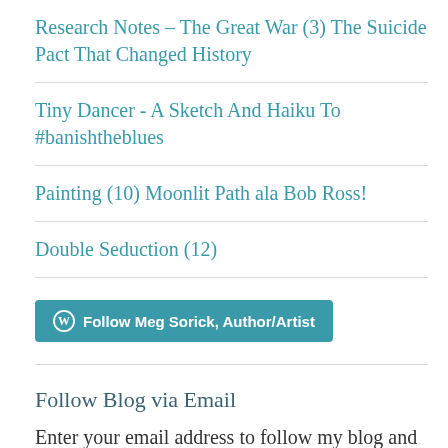Research Notes – The Great War (3) The Suicide Pact That Changed History
Tiny Dancer - A Sketch And Haiku To #banishtheblues
Painting (10) Moonlit Path ala Bob Ross!
Double Seduction (12)
[Figure (other): Follow Meg Sorick, Author/Artist button with WordPress logo]
Follow Blog via Email
Enter your email address to follow my blog and receive notifications of new posts by email.